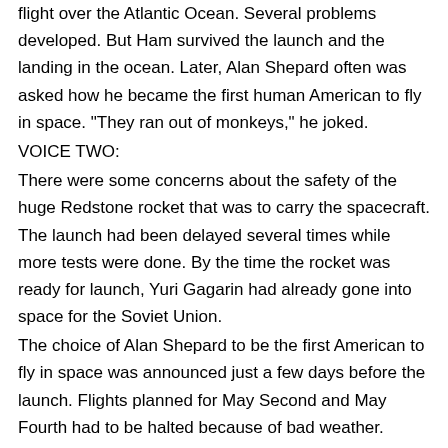flight over the Atlantic Ocean. Several problems developed. But Ham survived the launch and the landing in the ocean. Later, Alan Shepard often was asked how he became the first human American to fly in space. "They ran out of monkeys," he joked.
VOICE TWO:
There were some concerns about the safety of the huge Redstone rocket that was to carry the spacecraft. The launch had been delayed several times while more tests were done. By the time the rocket was ready for launch, Yuri Gagarin had already gone into space for the Soviet Union.
The choice of Alan Shepard to be the first American to fly in space was announced just a few days before the launch. Flights planned for May Second and May Fourth had to be halted because of bad weather.
On May Fifth, Nineteen-Sixty-One, a Friday, Alan Shepard struggled once again into his Mercury capsule. The vehicle was named